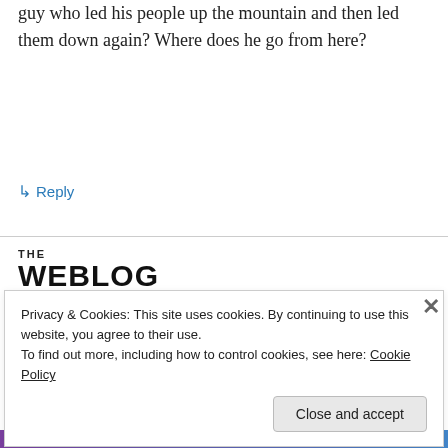guy who led his people up the mountain and then led them down again? Where does he go from here?
↳ Reply
[Figure (logo): The Weblog Awards First Place 2005 - Best Latino, Caribbean, or South American Blog.]
Privacy & Cookies: This site uses cookies. By continuing to use this website, you agree to their use.
To find out more, including how to control cookies, see here: Cookie Policy
Close and accept